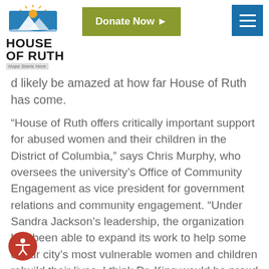[Figure (logo): House of Ruth logo with sun/mountain graphic and tagline 'Hope Starts Here']
[Figure (other): Green 'Donate Now' button with arrow]
[Figure (other): Blue hamburger menu icon (three white lines)]
d likely be amazed at how far House of Ruth has come.
“House of Ruth offers critically important support for abused women and their children in the District of Columbia,” says Chris Murphy, who oversees the university’s Office of Community Engagement as vice president for government relations and community engagement. “Under Sandra Jackson’s leadership, the organization has been able to expand its work to help some of our city’s most vulnerable women and children rebuild their lives. I think Dr. King would be proud to see her honored with the Legacy of a—m Award.”